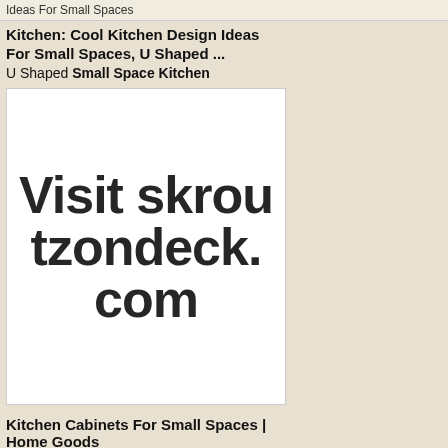Ideas For Small Spaces
Kitchen: Cool Kitchen Design Ideas For Small Spaces, U Shaped ...
U Shaped Small Space Kitchen
[Figure (photo): Image with large bold watermark text reading 'Visit skroutzondeck.com' over a faint background pattern]
Kitchen Cabinets For Small Spaces | Home Goods